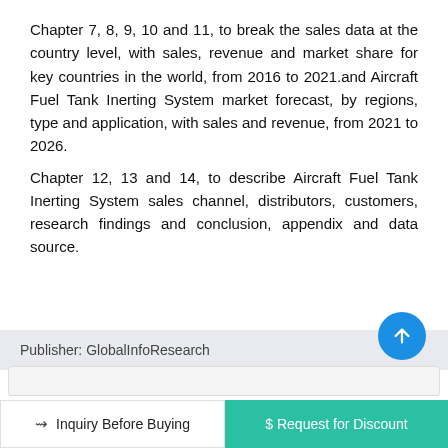Chapter 7, 8, 9, 10 and 11, to break the sales data at the country level, with sales, revenue and market share for key countries in the world, from 2016 to 2021.and Aircraft Fuel Tank Inerting System market forecast, by regions, type and application, with sales and revenue, from 2021 to 2026.
Chapter 12, 13 and 14, to describe Aircraft Fuel Tank Inerting System sales channel, distributors, customers, research findings and conclusion, appendix and data source.
Publisher: GlobalInfoResearch
Inquiry Before Buying
$ Request for Discount